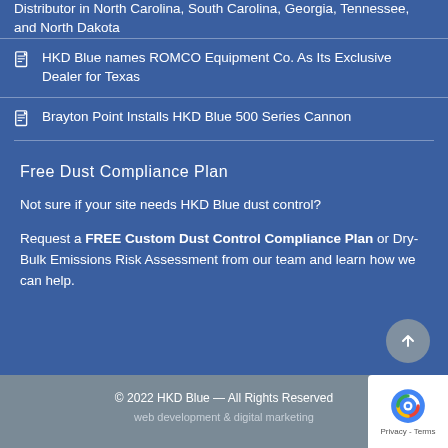Distributor in North Carolina, South Carolina, Georgia, Tennessee, and North Dakota
HKD Blue names ROMCO Equipment Co. As Its Exclusive Dealer for Texas
Brayton Point Installs HKD Blue 500 Series Cannon
Free Dust Compliance Plan
Not sure if your site needs HKD Blue dust control?
Request a FREE Custom Dust Control Compliance Plan or Dry-Bulk Emissions Risk Assessment from our team and learn how we can help.
© 2022 HKD Blue — All Rights Reserved
web development & digital marketing